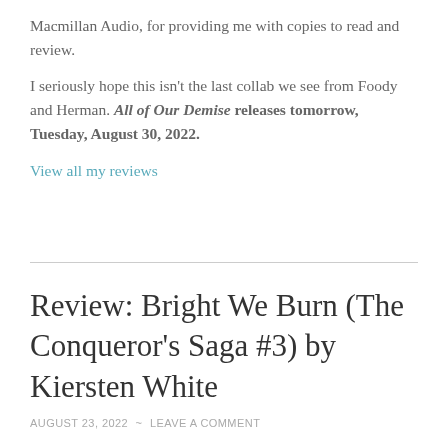Macmillan Audio, for providing me with copies to read and review.
I seriously hope this isn't the last collab we see from Foody and Herman. All of Our Demise releases tomorrow, Tuesday, August 30, 2022.
View all my reviews
Review: Bright We Burn (The Conqueror's Saga #3) by Kiersten White
AUGUST 23, 2022 ~ LEAVE A COMMENT